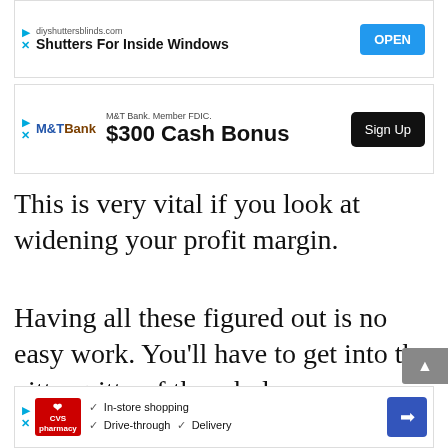[Figure (other): Advertisement banner for diyshuttersblinds.com – Shutters For Inside Windows with OPEN button]
[Figure (other): Advertisement banner for M&T Bank Member FDIC – $300 Cash Bonus with Sign Up button]
This is very vital if you look at widening your profit margin.
Having all these figured out is no easy work. You'll have to get into the nitty-gritty of the whole process.
Thankfully, this article is written with you in mind. It sets out to simplify the whole process. You only need to read on to find out more about what exactly influences
[Figure (other): Advertisement banner for CVS pharmacy – In-store shopping, Drive-through, Delivery with navigation icon]